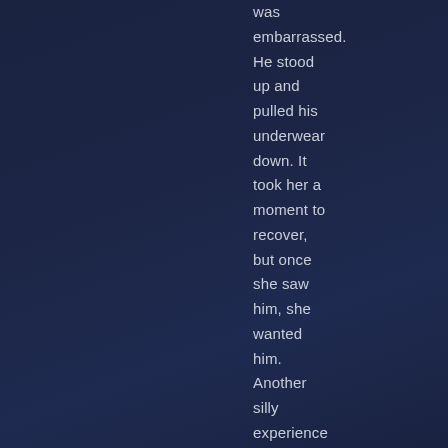was embarrassed. He stood up and pulled his underwear down. It took her a moment to recover, but once she saw him, she wanted him. Another silly experience she wasn't supposed